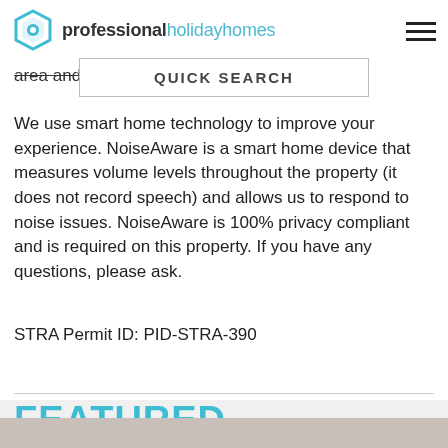professional holiday homes
area and dining area
We use smart home technology to improve your experience. NoiseAware is a smart home device that measures volume levels throughout the property (it does not record speech) and allows us to respond to noise issues. NoiseAware is 100% privacy compliant and is required on this property. If you have any questions, please ask.
STRA Permit ID: PID-STRA-390
FEATURED PROPERTIES
[Figure (photo): Bottom edge of a property photo, partial view]